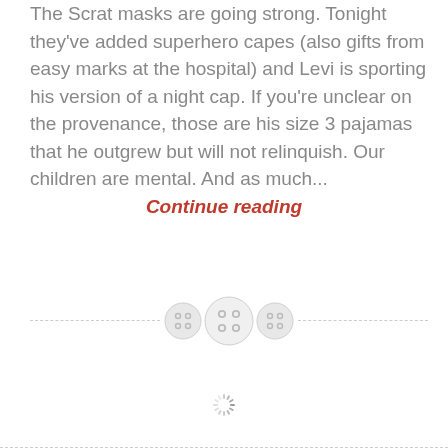The Scrat masks are going strong. Tonight they've added superhero capes (also gifts from easy marks at the hospital) and Levi is sporting his version of a night cap. If you're unclear on the provenance, those are his size 3 pajamas that he outgrew but will not relinquish. Our children are mental. And as much...
Continue reading
[Figure (illustration): Three button icons in a horizontal row centered on a dashed divider line. The buttons are light gray/white circles with four holes (like shirt buttons). The middle button is larger than the two flanking ones.]
[Figure (illustration): A loading spinner icon — a small circle of dashes/dots arranged in a ring, indicating content loading.]